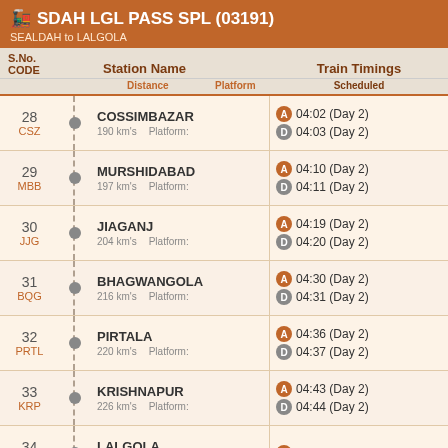🚂 SDAH LGL PASS SPL (03191) — SEALDAH to LALGOLA
| S.No. CODE | Station Name / Distance / Platform | Train Timings Scheduled |
| --- | --- | --- |
| 28 CSZ | COSSIMBAZAR 190 km's Platform: | A 04:02 (Day 2) | D 04:03 (Day 2) |
| 29 MBB | MURSHIDABAD 197 km's Platform: | A 04:10 (Day 2) | D 04:11 (Day 2) |
| 30 JJG | JIAGANJ 204 km's Platform: | A 04:19 (Day 2) | D 04:20 (Day 2) |
| 31 BQG | BHAGWANGOLA 216 km's Platform: | A 04:30 (Day 2) | D 04:31 (Day 2) |
| 32 PRTL | PIRTALA 220 km's Platform: | A 04:36 (Day 2) | D 04:37 (Day 2) |
| 33 KRP | KRISHNAPUR 226 km's Platform: | A 04:43 (Day 2) | D 04:44 (Day 2) |
| 34 LGL | LALGOLA 227 km's Platform: | A 04:55 (Day 2) |